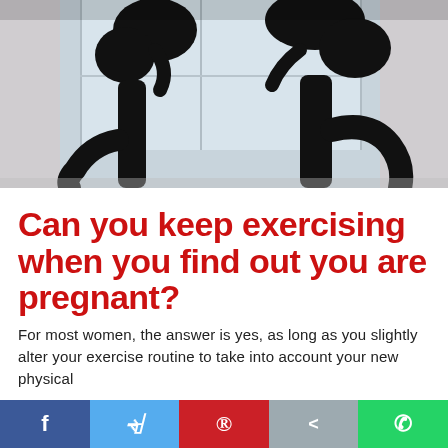[Figure (photo): Two pregnant women in black workout clothing exercising/stretching, photographed from waist down showing their pregnant bellies. Indoor setting with large windows in background.]
Can you keep exercising when you find out you are pregnant?
For most women, the answer is yes, as long as you slightly alter your exercise routine to take into account your new physical